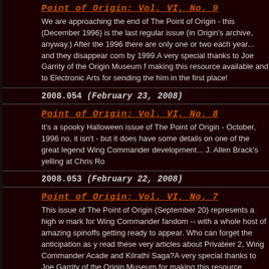Point of Origin: Vol. VI, No. 9
We are approaching the end of The Point of Origin - this (December 1996) is the last regular issue (in Origin's archive, anyway.) After the 1996 there are only one or two each year... and they disappear completely by 1999. A very special thanks to Joe Garrity of the Origin Museum for making this resource available and to Electronic Arts for sending the him in the first place!
2008.054 (February 23, 2008)
Point of Origin: Vol. VI, No. 8
It's a spooky Halloween issue of The Point of Origin - October, 1996 - no, it isn't - but it does have some details on one of the great legends of Wing Commander development... J. Allen Brack's yelling at Chris Ro
2008.053 (February 22, 2008)
Point of Origin: Vol. VI, No. 7
This issue of The Point of Origin (September 20) represents a high water mark for Wing Commander fandom -- with a whole host of amazing spinoffs getting ready to appear. Who can forget the anticipation as you read these very articles about Privateer 2, Wing Commander Academy and Kilrathi Saga? A very special thanks to Joe Garrity of the Origin Museum for making this resource available and to Electronic Arts for sending him in the first place!